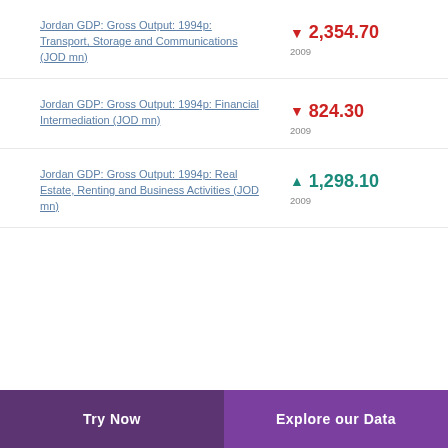Jordan GDP: Gross Output: 1994p: Transport, Storage and Communications (JOD mn)
Jordan GDP: Gross Output: 1994p: Financial Intermediation (JOD mn)
Jordan GDP: Gross Output: 1994p: Real Estate, Renting and Business Activities (JOD mn)
Try Now | Explore our Data